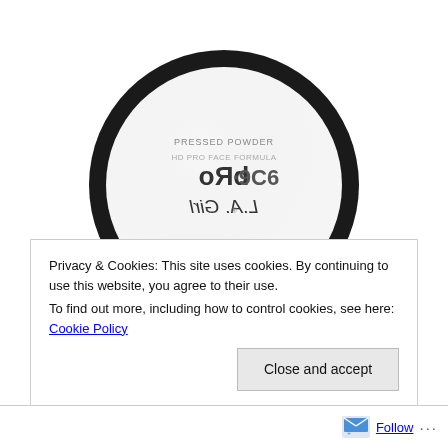[Figure (photo): Open compact powder case with black lid (showing mirror with reversed product label text: 'Pressed Powder HD Pro Face 9C6, L.A. Girl') and round tan/beige pressed powder pan below, on white background]
Privacy & Cookies: This site uses cookies. By continuing to use this website, you agree to their use.
To find out more, including how to control cookies, see here: Cookie Policy
Close and accept
Follow